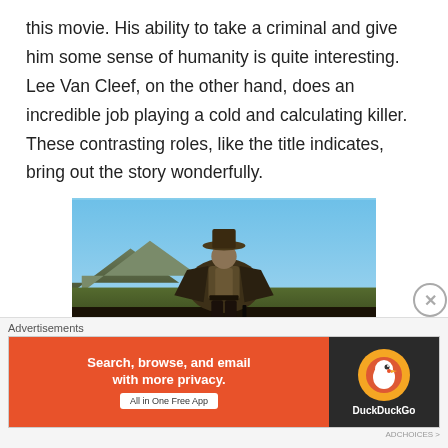this movie. His ability to take a criminal and give him some sense of humanity is quite interesting. Lee Van Cleef, on the other hand, does an incredible job playing a cold and calculating killer. These contrasting roles, like the title indicates, bring out the story wonderfully.
[Figure (photo): A cowboy-dressed man (resembling Clint Eastwood) standing in a Western landscape with mountains and blue sky in the background, viewed from a low angle looking up.]
The score for this movie is one of the best ever
Advertisements
[Figure (screenshot): DuckDuckGo advertisement banner: orange left side with text 'Search, browse, and email with more privacy. All in One Free App', dark right side with DuckDuckGo logo and name.]